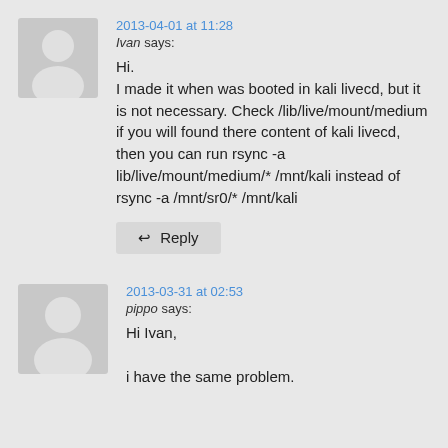2013-04-01 at 11:28
Ivan says:
Hi.
I made it when was booted in kali livecd, but it is not necessary.
Check /lib/live/mount/medium if you will found there content of kali livecd, then you can run rsync -a lib/live/mount/medium/* /mnt/kali instead of rsync -a /mnt/sr0/* /mnt/kali
↩ Reply
2013-03-31 at 02:53
pippo says:
Hi Ivan,

i have the same problem.